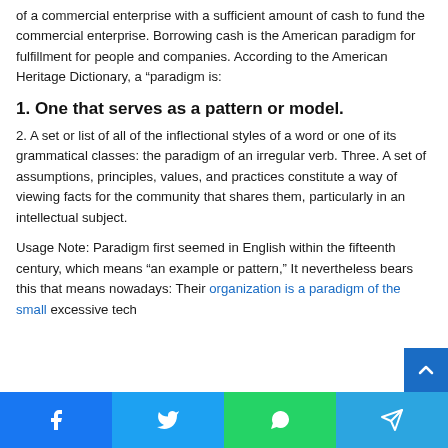of a commercial enterprise with a sufficient amount of cash to fund the commercial enterprise. Borrowing cash is the American paradigm for fulfillment for people and companies. According to the American Heritage Dictionary, a “paradigm is:
1. One that serves as a pattern or model.
2. A set or list of all of the inflectional styles of a word or one of its grammatical classes: the paradigm of an irregular verb. Three. A set of assumptions, principles, values, and practices constitute a way of viewing facts for the community that shares them, particularly in an intellectual subject.
Usage Note: Paradigm first seemed in English within the fifteenth century, which means “an example or pattern,” It nevertheless bears this that means nowadays: Their organization is a paradigm of the small excessive tech